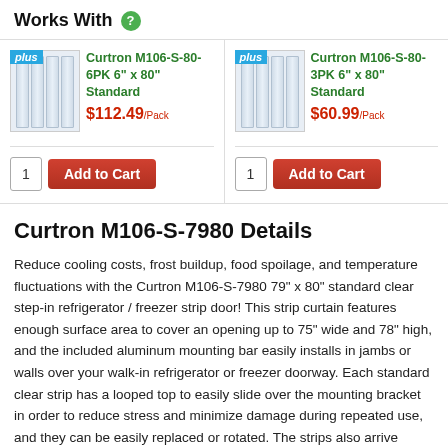Works With
[Figure (photo): Product image of Curtron M106-S-80-6PK strip curtain with plus badge]
Curtron M106-S-80-6PK 6" x 80" Standard
$112.49/Pack
1  Add to Cart
[Figure (photo): Product image of Curtron M106-S-80-3PK strip curtain with plus badge]
Curtron M106-S-80-3PK 6" x 80" Standard
$60.99/Pack
1  Add to Cart
Curtron M106-S-7980 Details
Reduce cooling costs, frost buildup, food spoilage, and temperature fluctuations with the Curtron M106-S-7980 79" x 80" standard clear step-in refrigerator / freezer strip door! This strip curtain features enough surface area to cover an opening up to 75" wide and 78" high, and the included aluminum mounting bar easily installs in jambs or walls over your walk-in refrigerator or freezer doorway. Each standard clear strip has a looped top to easily slide over the mounting bracket in order to reduce stress and minimize damage during repeated use, and they can be easily replaced or rotated. The strips also arrive evenly pre-cut in